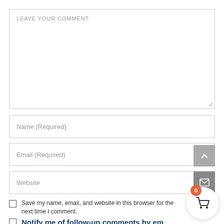LEAVE YOUR COMMENT
Name (Required)
Email (Required)
Website
Save my name, email, and website in this browser for the next time I comment.
Notify me of follow-up comments by em...